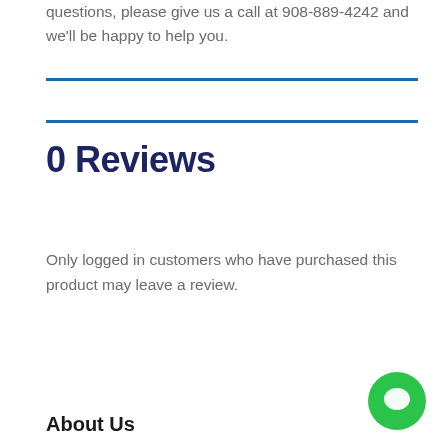questions, please give us a call at 908-889-4242 and we'll be happy to help you.
0 Reviews
Only logged in customers who have purchased this product may leave a review.
About Us
[Figure (illustration): Green circular chat bubble icon in bottom right corner]